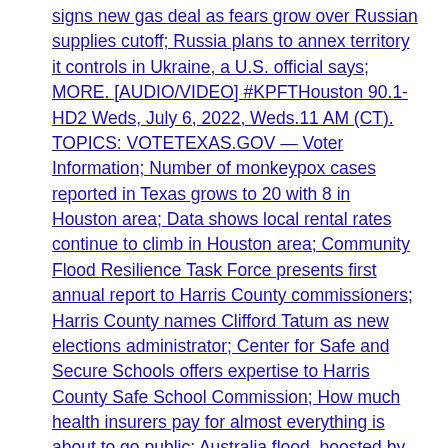signs new gas deal as fears grow over Russian supplies cutoff; Russia plans to annex territory it controls in Ukraine, a U.S. official says; MORE. [AUDIO/VIDEO] #KPFTHouston 90.1-HD2 Weds, July 6, 2022, Weds.11 AM (CT). TOPICS: VOTETEXAS.GOV — Voter Information; Number of monkeypox cases reported in Texas grows to 20 with 8 in Houston area; Data shows local rental rates continue to climb in Houston area; Community Flood Resilience Task Force presents first annual report to Harris County commissioners; Harris County names Clifford Tatum as new elections administrator; Center for Safe and Secure Schools offers expertise to Harris County Safe School Commission; How much health insurers pay for almost everything is about to go public; Australia flood, boosted by climate change, making history in Sydney; North America Crude Oil Steps Up With More Supply; UK signs deal to share police biometric database with US border guards; China Tries to Censor What Could Be Biggest Data Hack in History; Trudeau: Canada first NATO ally to ratify membership bids by Finland and Sweden; MORE. [AUDIO/VIDEO] #KPFTHouston 90.1-HD2